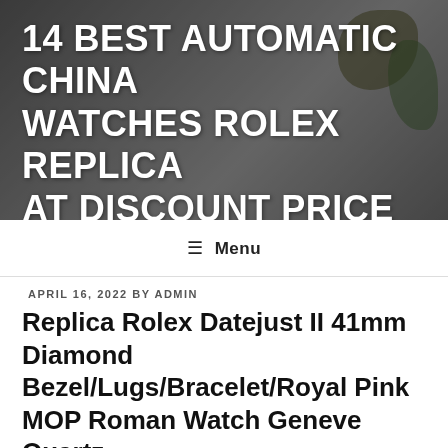[Figure (photo): Background header image showing a dark ceramic pot with a succulent plant on a wooden surface, with white bold text overlay.]
14 BEST AUTOMATIC CHINA WATCHES ROLEX REPLICA AT DISCOUNT PRICE
☰ Menu
APRIL 16, 2022 BY ADMIN
Replica Rolex Datejust II 41mm Diamond Bezel/Lugs/Bracelet/Royal Pink MOP Roman Watch Geneve Quartz
Replica Rolex Datejust II 41mm Diamond